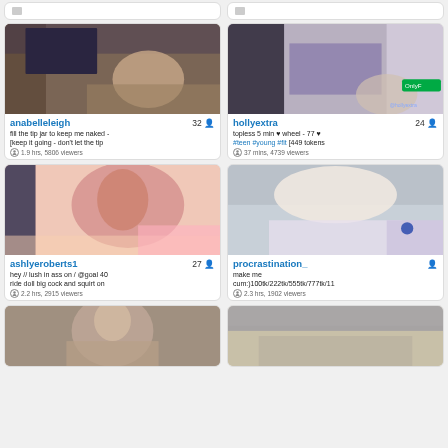[Figure (screenshot): Top strip with two partially visible cards]
[Figure (photo): Webcam thumbnail for anabelleleigh]
anabelleleigh 32 | fill the tip jar to keep me naked - [keep it going - don't let the tip | 1.9 hrs, 5806 viewers
[Figure (photo): Webcam thumbnail for hollyextra]
hollyextra 24 | topless 5 min ♥ wheel - 77 ♥ #teen #young #fit [449 tokens | 37 mins, 4739 viewers
[Figure (photo): Webcam thumbnail for ashlyeroberts1]
ashlyeroberts1 27 | hey // lush in ass on / @goal 40 ride doll big cock and squirt on | 2.2 hrs, 2915 viewers
[Figure (photo): Webcam thumbnail for procrastination_]
procrastination_ | make me cum:)100tk/222tk/555tk/777tk/11 | 2.3 hrs, 1902 viewers
[Figure (photo): Partially visible webcam thumbnail bottom left]
[Figure (photo): Partially visible webcam thumbnail bottom right]